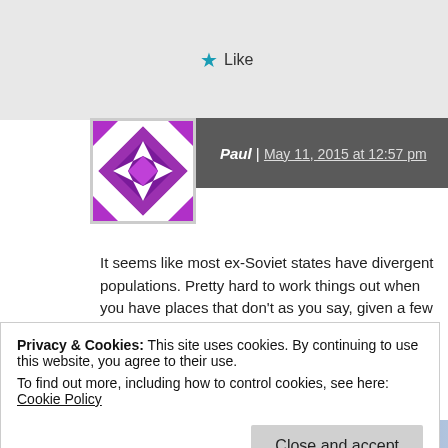★ Like
Paul | May 11, 2015 at 12:57 pm
[Figure (illustration): Purple and white geometric quilt-pattern avatar image]
It seems like most ex-Soviet states have divergent populations. Pretty hard to work things out when you have places that don't... as you say, given a few years, many will start to look more fav... Union. The European Dream may be dying.

As a different topic, and one that might interest you, a rather w... Matveychev, wrote an article on how the West has only done w... in the information sphere. And then he lists a number of intere...
Privacy & Cookies: This site uses cookies. By continuing to use this website, you agree to their use.
To find out more, including how to control cookies, see here: Cookie Policy
Close and accept